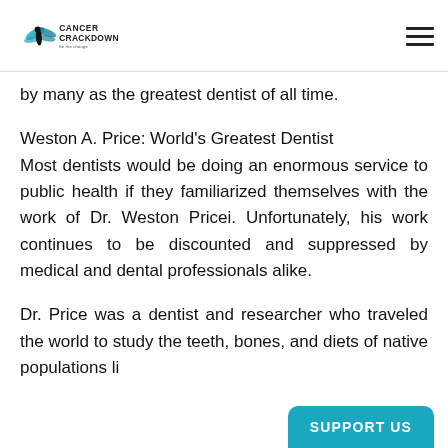Cancer Crackdown
by many as the greatest dentist of all time.
Weston A. Price: World's Greatest Dentist
Most dentists would be doing an enormous service to public health if they familiarized themselves with the work of Dr. Weston Pricei. Unfortunately, his work continues to be discounted and suppressed by medical and dental professionals alike.
Dr. Price was a dentist and researcher who traveled the world to study the teeth, bones, and diets of native populations li
SUPPORT US